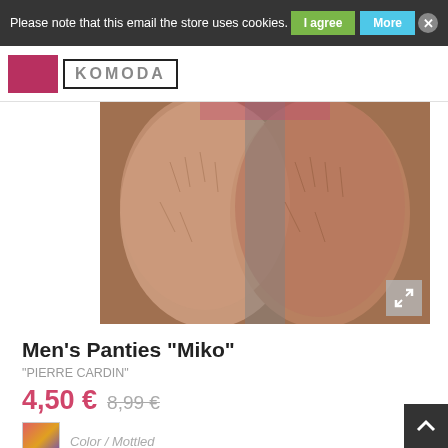Please note that this email the store uses cookies.
[Figure (screenshot): E-commerce product page for Men's Panties Miko by Pierre Cardin showing product photo and pricing]
Men's Panties "Miko"
"PIERRE CARDIN"
4,50 € 8,99 €
Color / Mottled
M  Size
1  Quantity